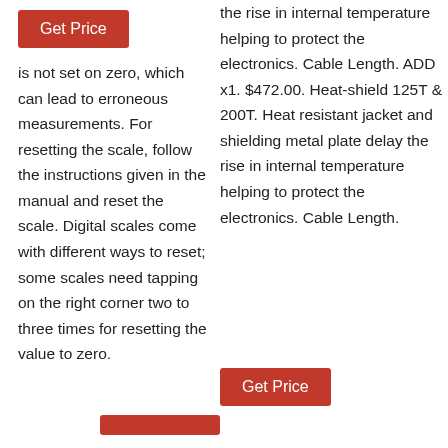Get Price
is not set on zero, which can lead to erroneous measurements. For resetting the scale, follow the instructions given in the manual and reset the scale. Digital scales come with different ways to reset; some scales need tapping on the right corner two to three times for resetting the value to zero.
the rise in internal temperature helping to protect the electronics. Cable Length. ADD x1. $472.00. Heat-shield 125T & 200T. Heat resistant jacket and shielding metal plate delay the rise in internal temperature helping to protect the electronics. Cable Length.
Get Price